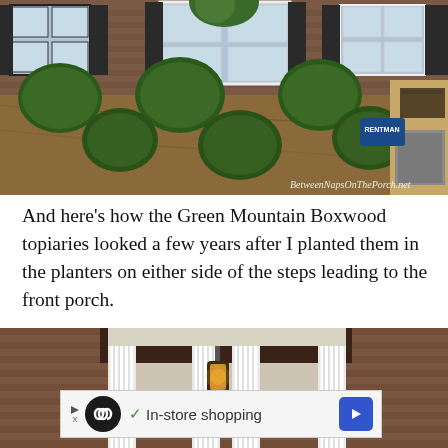[Figure (photo): Front yard of a brick house with multiple rounded green boxwood shrubs planted in pine straw mulch beds. White-framed windows with dark shutters visible in background. Watermark text reads BetweenNapsOnThePorch.net]
And here’s how the Green Mountain Boxwood topiaries looked a few years after I planted them in the planters on either side of the steps leading to the front porch.
[Figure (photo): Front porch of a brick house with white columns, a hanging lantern light fixture, and brick walls visible. Partially obscured by an advertisement overlay.]
[Figure (other): Advertisement banner: triangle play icon, black circle with infinity symbol, green checkmark, text 'In-store shopping', blue diamond arrow button.]